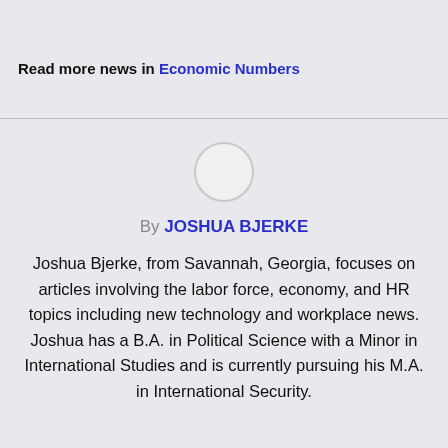Read more news in Economic Numbers
[Figure (illustration): Circular avatar placeholder icon]
By JOSHUA BJERKE
Joshua Bjerke, from Savannah, Georgia, focuses on articles involving the labor force, economy, and HR topics including new technology and workplace news. Joshua has a B.A. in Political Science with a Minor in International Studies and is currently pursuing his M.A. in International Security.